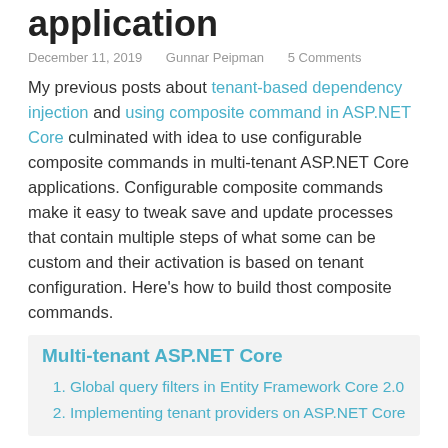application
December 11, 2019    Gunnar Peipman    5 Comments
My previous posts about tenant-based dependency injection and using composite command in ASP.NET Core culminated with idea to use configurable composite commands in multi-tenant ASP.NET Core applications. Configurable composite commands make it easy to tweak save and update processes that contain multiple steps of what some can be custom and their activation is based on tenant configuration. Here's how to build thost composite commands.
Multi-tenant ASP.NET Core
Global query filters in Entity Framework Core 2.0
Implementing tenant providers on ASP.NET Core